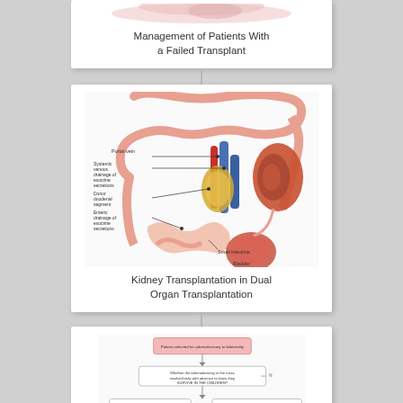[Figure (illustration): Top portion of a medical card showing partial colored illustration (cropped at top of page)]
Management of Patients With a Failed Transplant
[Figure (illustration): Anatomical illustration of kidney transplantation in dual organ transplantation, showing portal vein, systemic venous drainage of exocrine secretions, donor duodenal segment, enteric drainage of exocrine secretions, small intestine, bladder, and kidney]
Kidney Transplantation in Dual Organ Transplantation
[Figure (flowchart): Partial flowchart for kidney transplantation decision algorithm, showing decision boxes connected by arrows]